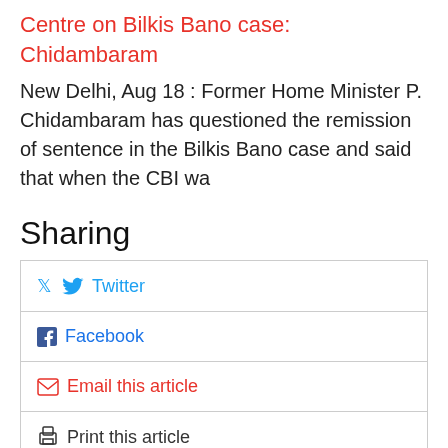Centre on Bilkis Bano case: Chidambaram
New Delhi, Aug 18 : Former Home Minister P. Chidambaram has questioned the remission of sentence in the Bilkis Bano case and said that when the CBI wa
Sharing
Twitter
Facebook
Email this article
Print this article
Tags